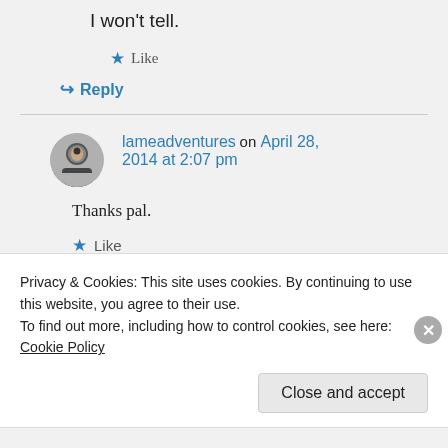I won't tell.
★ Like
↪ Reply
lameadventures on April 28, 2014 at 2:07 pm
Thanks pal.
★ Like
Privacy & Cookies: This site uses cookies. By continuing to use this website, you agree to their use. To find out more, including how to control cookies, see here: Cookie Policy
Close and accept